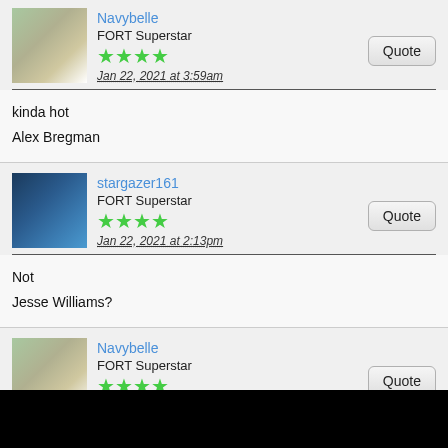Navybelle
FORT Superstar
★★★★
Jan 22, 2021 at 3:59am
kinda hot
Alex Bregman
stargazer161
FORT Superstar
★★★★
Jan 22, 2021 at 2:13pm
Not
Jesse Williams?
Navybelle
FORT Superstar
★★★★
Feb 1, 2021 at 1:15am